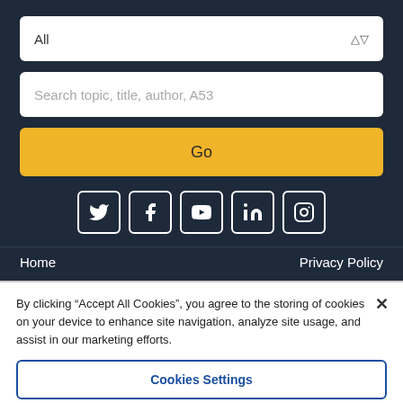[Figure (screenshot): Dropdown select box with 'All' option and up/down arrows, on dark navy background]
[Figure (screenshot): Search input box with placeholder text 'Search topic, title, author, A53']
Go
[Figure (infographic): Social media icons: Twitter, Facebook, YouTube, LinkedIn, Instagram — white outlined square icons on dark navy background]
Home
Privacy Policy
By clicking "Accept All Cookies", you agree to the storing of cookies on your device to enhance site navigation, analyze site usage, and assist in our marketing efforts.
Cookies Settings
Reject All